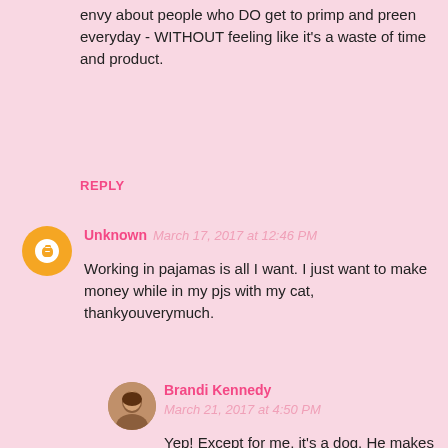envy about people who DO get to primp and preen everyday - WITHOUT feeling like it's a waste of time and product.
REPLY
Unknown  March 17, 2017 at 12:46 PM
Working in pajamas is all I want. I just want to make money while in my pjs with my cat, thankyouverymuch.
Brandi Kennedy  March 21, 2017 at 4:50 PM
Yep! Except for me, it's a dog. He makes such a spectacular foot blanket!
REPLY
Unknown  March 17, 2017 at 1:06 PM